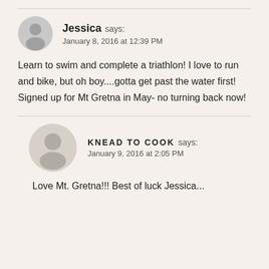Jessica says: January 8, 2016 at 12:39 PM
Learn to swim and complete a triathlon! I love to run and bike, but oh boy....gotta get past the water first! Signed up for Mt Gretna in May- no turning back now!
KNEAD TO COOK says: January 9, 2016 at 2:05 PM
Love Mt. Gretna!!! Best of luck Jessica...